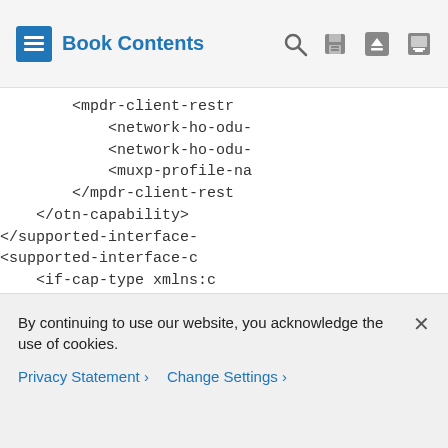Book Contents
<mpdr-client-restr
    <network-ho-odu-
    <network-ho-odu-
    <muxp-profile-na
    </mpdr-client-rest
    </otn-capability>
    </supported-interface-
    <supported-interface-c
    <if-cap-type xmlns:c
    <otn-capability>
    <otn-capability-pr
    <mpdr-client-restr
    <network-ho-odu-
    <network-ho-odu-
    <muxp-profile-na
By continuing to use our website, you acknowledge the use of cookies.
Privacy Statement > Change Settings >